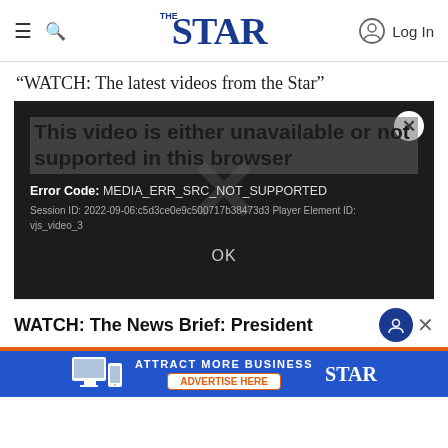THE STAR — navigation bar with hamburger menu, search icon, The Star logo, and Log In button
“WATCH: The latest videos from the Star”
[Figure (screenshot): Video player error dialog on dark background. Shows error message: 'This video is either unavailable or not supported in this browser'. Error Code: MEDIA_ERR_SRC_NOT_SUPPORTED. Session ID: 2022-09-06:c5d3ce0e9c500717b38473d3 Player Element ID: vjs_video_3. Large X watermark in center. OK button at bottom. Close X button top right.]
WATCH: The News Brief: President
[Figure (screenshot): Advertisement banner: ATTRACT MORE BUSINESS — ADVERTISE HERE — with STAR logo and device images (monitor and phone)]